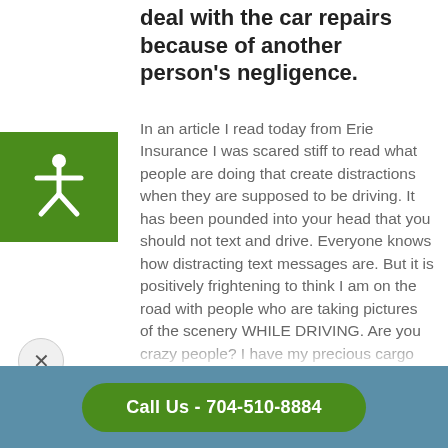deal with the car repairs because of another person's negligence.
[Figure (illustration): Green square accessibility icon with white human figure (arms and legs spread)]
In an article I read today from Erie Insurance I was scared stiff to read what people are doing that create distractions when they are supposed to be driving. It has been pounded into your head that you should not text and drive.  Everyone knows how distracting text messages are.  But it is positively frightening to think I am on the road with people who are taking pictures of the scenery WHILE DRIVING.  Are you crazy people?  I have my precious cargo aka kids in my car.  Please just stop it.  Put your hands on the wheel (10:00 and 2:00 in case you forgot) and keep your
Call Us - 704-510-8884